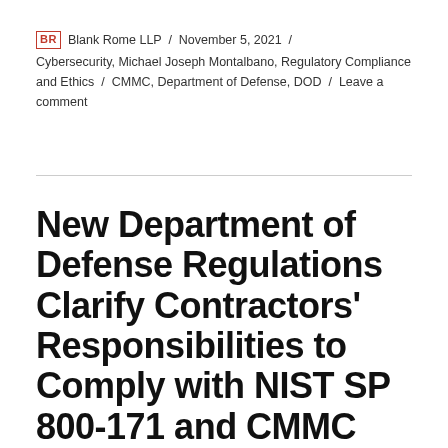BR Blank Rome LLP / November 5, 2021 / Cybersecurity, Michael Joseph Montalbano, Regulatory Compliance and Ethics / CMMC, Department of Defense, DOD / Leave a comment
New Department of Defense Regulations Clarify Contractors' Responsibilities to Comply with NIST SP 800-171 and CMMC Requirements